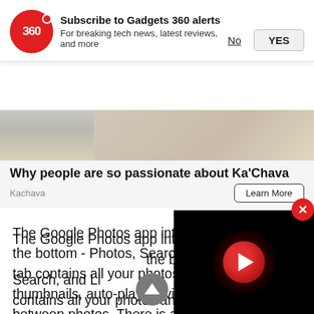Subscribe to Gadgets 360 alerts
For breaking tech news, latest reviews, and more
[Figure (infographic): Advertisement for Ka'Chava showing a partial image of a person holding a jar, with headline 'Why people are so passionate about Ka'Chava', source 'Kachava', and a 'Learn More' button]
The Google Photos app interface now has three tabs at the bottom - Photos, Search, and Library. The Photos tab contains all your photos and videos, arranged in thumbnails, auto-playing videos, and smooth transitions between photos. There is also a large carousel on the top that shows content from the current week, but from several years ago.
[Figure (screenshot): Video player overlay on bottom right with play button (red circle with white triangle), close button (red circle with X) on top right, and scroll-up button (grey circle with white arrow) to the left of the video]